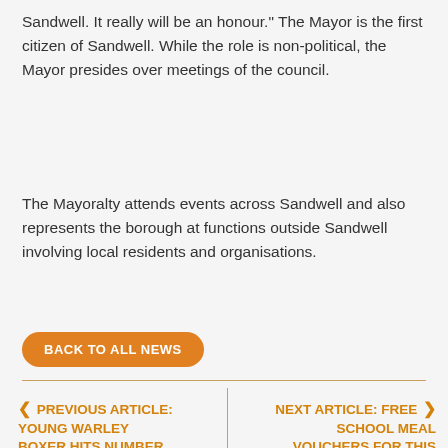Sandwell. It really will be an honour." The Mayor is the first citizen of Sandwell. While the role is non-political, the Mayor presides over meetings of the council.
The Mayoralty attends events across Sandwell and also represents the borough at functions outside Sandwell involving local residents and organisations.
BACK TO ALL NEWS
< PREVIOUS ARTICLE: YOUNG WARLEY BOXER HITS NUMBER ONE RANKING
NEXT ARTICLE: FREE SCHOOL MEAL VOUCHERS FOR THIS HALF-TERM HOLIDAY >